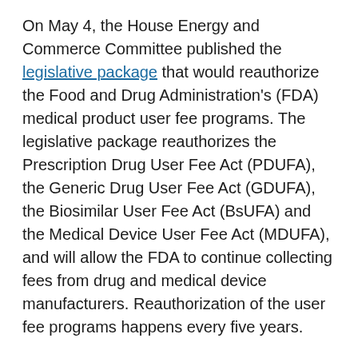On May 4, the House Energy and Commerce Committee published the legislative package that would reauthorize the Food and Drug Administration's (FDA) medical product user fee programs. The legislative package reauthorizes the Prescription Drug User Fee Act (PDUFA), the Generic Drug User Fee Act (GDUFA), the Biosimilar User Fee Act (BsUFA) and the Medical Device User Fee Act (MDUFA), and will allow the FDA to continue collecting fees from drug and medical device manufacturers. Reauthorization of the user fee programs happens every five years.
On May 11, the House Committee on Energy and Commerce Subcommittee on Health voted unanimously to advance the user fee legislation to the full committee.
Prescription Drug User Fee Act (PDUFA) Updates: